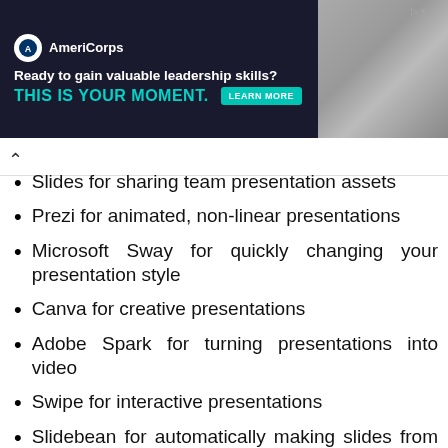[Figure (other): AmeriCorps advertisement banner. Text reads: Ready to gain valuable leadership skills? THIS IS YOUR MOMENT. LEARN MORE button. Photo of people in the background.]
Slides for sharing team presentation assets
Prezi for animated, non-linear presentations
Microsoft Sway for quickly changing your presentation style
Canva for creative presentations
Adobe Spark for turning presentations into video
Swipe for interactive presentations
Slidebean for automatically making slides from an outline
Evernote Presentation Mode to turn notes into a presentation